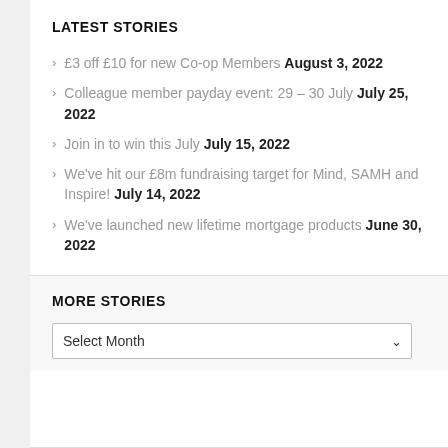LATEST STORIES
£3 off £10 for new Co-op Members August 3, 2022
Colleague member payday event: 29 – 30 July July 25, 2022
Join in to win this July July 15, 2022
We've hit our £8m fundraising target for Mind, SAMH and Inspire! July 14, 2022
We've launched new lifetime mortgage products June 30, 2022
MORE STORIES
Select Month